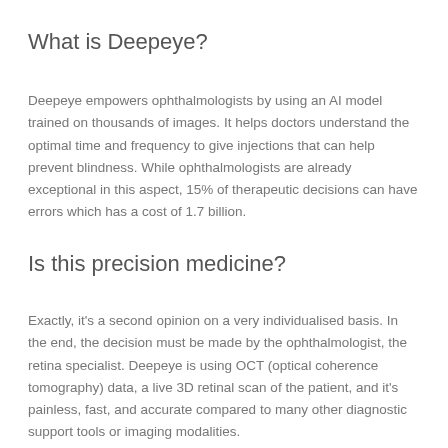What is Deepeye?
Deepeye empowers ophthalmologists by using an AI model trained on thousands of images. It helps doctors understand the optimal time and frequency to give injections that can help prevent blindness. While ophthalmologists are already exceptional in this aspect, 15% of therapeutic decisions can have errors which has a cost of 1.7 billion.
Is this precision medicine?
Exactly, it's a second opinion on a very individualised basis. In the end, the decision must be made by the ophthalmologist, the retina specialist. Deepeye is using OCT (optical coherence tomography) data, a live 3D retinal scan of the patient, and it's painless, fast, and accurate compared to many other diagnostic support tools or imaging modalities.